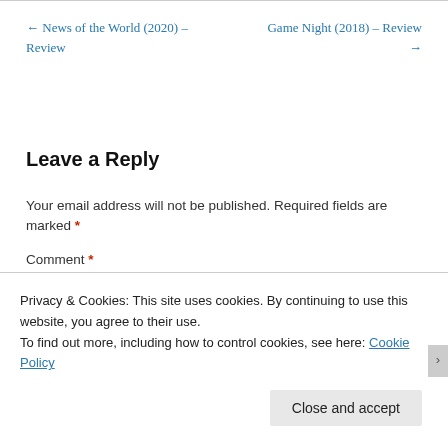← News of the World (2020) – Review
Game Night (2018) – Review →
Leave a Reply
Your email address will not be published. Required fields are marked *
Comment *
Privacy & Cookies: This site uses cookies. By continuing to use this website, you agree to their use.
To find out more, including how to control cookies, see here: Cookie Policy
Close and accept